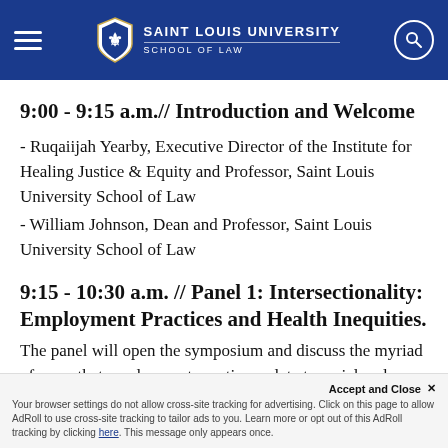SAINT LOUIS UNIVERSITY — SCHOOL OF LAW
9:00 - 9:15 a.m.// Introduction and Welcome
- Ruqaiijah Yearby, Executive Director of the Institute for Healing Justice & Equity and Professor, Saint Louis University School of Law
- William Johnson, Dean and Professor, Saint Louis University School of Law
9:15 - 10:30 a.m. // Panel 1: Intersectionality: Employment Practices and Health Inequities.
The panel will open the symposium and discuss the myriad of ways that employment practices relate to racial and ethnic
Your browser settings do not allow cross-site tracking for advertising. Click on this page to allow AdRoll to use cross-site tracking to tailor ads to you. Learn more or opt out of this AdRoll tracking by clicking here. This message only appears once.